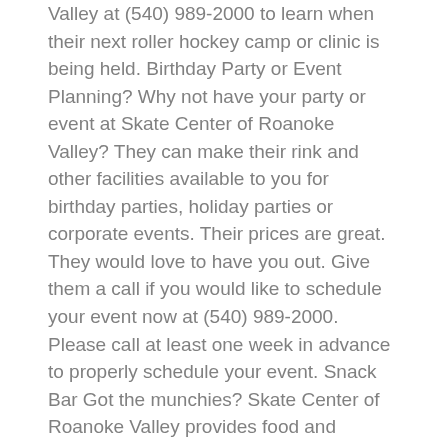Valley at (540) 989-2000 to learn when their next roller hockey camp or clinic is being held. Birthday Party or Event Planning? Why not have your party or event at Skate Center of Roanoke Valley? They can make their rink and other facilities available to you for birthday parties, holiday parties or corporate events. Their prices are great. They would love to have you out. Give them a call if you would like to schedule your event now at (540) 989-2000. Please call at least one week in advance to properly schedule your event. Snack Bar Got the munchies? Skate Center of Roanoke Valley provides food and beverages in the snack bar.